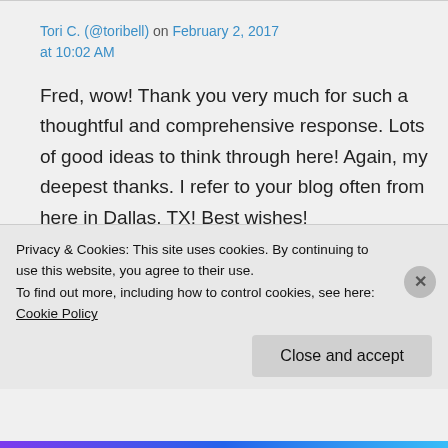Tori C. (@toribell) on February 2, 2017 at 10:02 AM
Fred, wow! Thank you very much for such a thoughtful and comprehensive response. Lots of good ideas to think through here! Again, my deepest thanks. I refer to your blog often from here in Dallas, TX! Best wishes!
Privacy & Cookies: This site uses cookies. By continuing to use this website, you agree to their use.
To find out more, including how to control cookies, see here: Cookie Policy
Close and accept